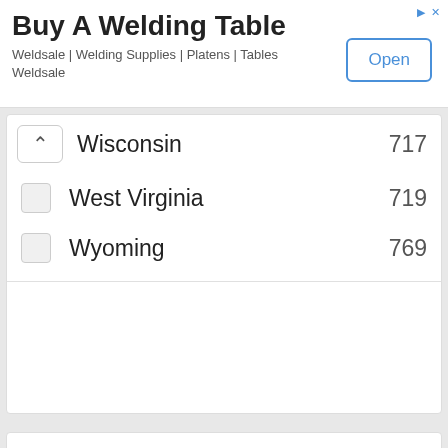[Figure (screenshot): Advertisement banner for 'Buy A Welding Table' from Weldsale with an Open button]
Wisconsin 717
West Virginia 719
Wyoming 769
Software Asset Administrator
Georgia, lawrenceville, Transportation
Equal-Plus, Inc. - Software Asset Administrator